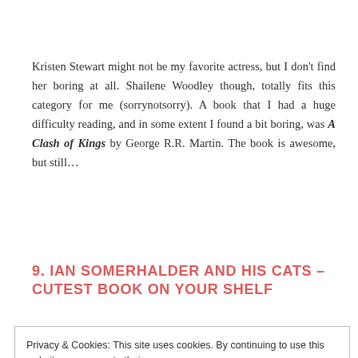Kristen Stewart might not be my favorite actress, but I don't find her boring at all. Shailene Woodley though, totally fits this category for me (sorrynotsorry). A book that I had a huge difficulty reading, and in some extent I found a bit boring, was A Clash of Kings by George R.R. Martin. The book is awesome, but still…
9. IAN SOMERHALDER AND HIS CATS – CUTEST BOOK ON YOUR SHELF
Privacy & Cookies: This site uses cookies. By continuing to use this website, you agree to their use.
To find out more, including how to control cookies, see here: Cookie Policy
Close and accept